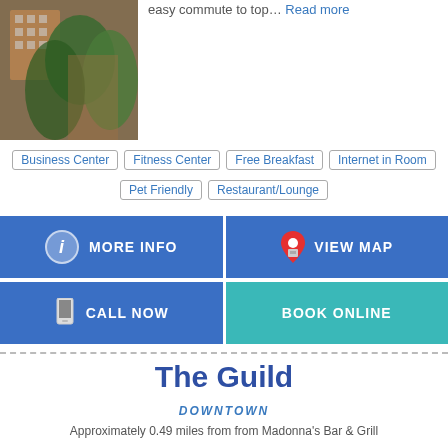[Figure (photo): Building exterior photo showing brick facade with green ivy/trees]
easy commute to top… Read more
Business Center
Fitness Center
Free Breakfast
Internet in Room
Pet Friendly
Restaurant/Lounge
MORE INFO
VIEW MAP
CALL NOW
BOOK ONLINE
The Guild
DOWNTOWN
Approximately 0.49 miles from from Madonna's Bar & Grill
[Figure (photo): Interior hotel room photo showing kitchen/living area]
The Guild is the hotel that combines the comforts of home with the perks of boutique accommodations - located in the heart of downtown--Nestled amidst a hilly landscape… Read more